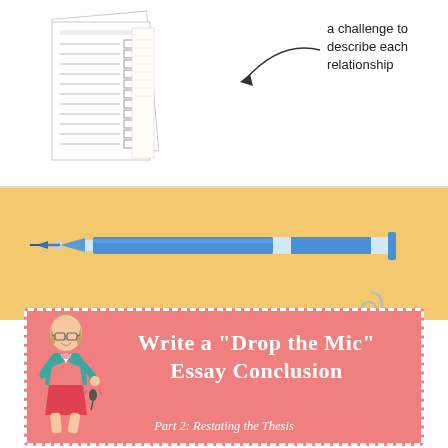[Figure (illustration): A worksheet/checklist document with lines and checkboxes, shown at an angle with a second page behind it.]
a challenge to describe each relationship
[Figure (illustration): A blue mechanical pencil/pen shown horizontally on a yellow background.]
[Figure (illustration): A cartoon illustration of a woman with blonde hair, glasses, teal cardigan, dropping a microphone. Pink card with dashed white border.]
Write a “Drop the Mic” Essay Conclusion
Part 2: Restating the Thesis